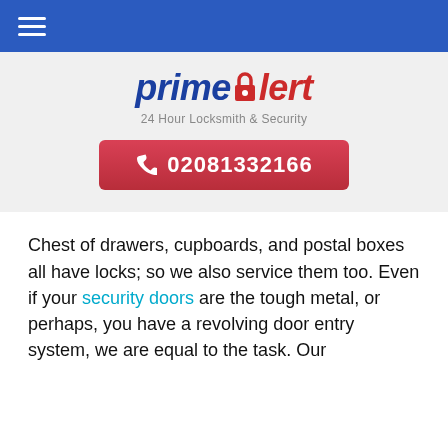[Figure (logo): Prime Alert logo with hamburger menu nav bar in blue]
prime alert — 24 Hour Locksmith & Security
☎ 02081332166
Chest of drawers, cupboards, and postal boxes all have locks; so we also service them too. Even if your security doors are the tough metal, or perhaps, you have a revolving door entry system, we are equal to the task. Our